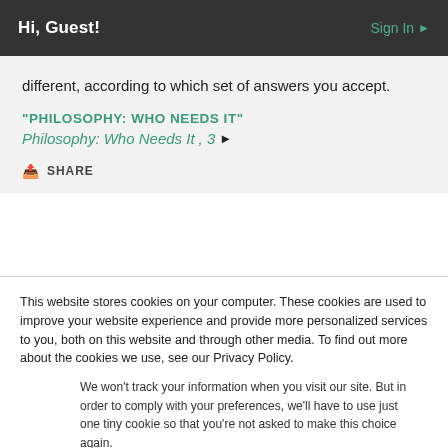Hi, Guest!   Sign In ▶
different, according to which set of answers you accept.
"PHILOSOPHY: WHO NEEDS IT"
Philosophy: Who Needs It, 3 ▶
🔗 SHARE
This website stores cookies on your computer. These cookies are used to improve your website experience and provide more personalized services to you, both on this website and through other media. To find out more about the cookies we use, see our Privacy Policy.
We won't track your information when you visit our site. But in order to comply with your preferences, we'll have to use just one tiny cookie so that you're not asked to make this choice again.
Accept   Decline